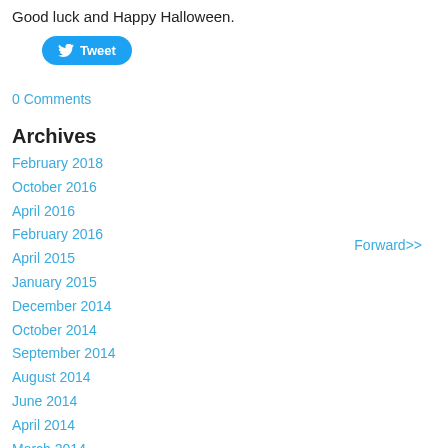Good luck and Happy Halloween.
[Figure (other): Tweet button with Twitter bird icon]
0 Comments
Forward>>
Archives
February 2018
October 2016
April 2016
February 2016
April 2015
January 2015
December 2014
October 2014
September 2014
August 2014
June 2014
April 2014
March 2014